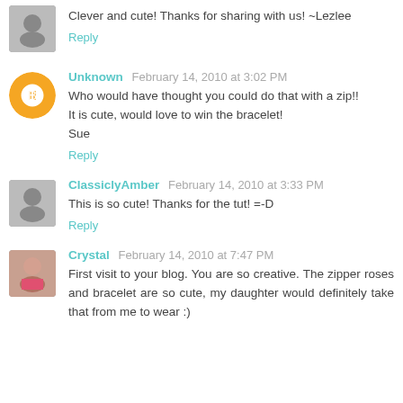Clever and cute! Thanks for sharing with us! ~Lezlee
Reply
Unknown  February 14, 2010 at 3:02 PM
Who would have thought you could do that with a zip!!
It is cute, would love to win the bracelet!
Sue
Reply
ClassiclyAmber  February 14, 2010 at 3:33 PM
This is so cute! Thanks for the tut! =-D
Reply
Crystal  February 14, 2010 at 7:47 PM
First visit to your blog. You are so creative. The zipper roses and bracelet are so cute, my daughter would definitely take that from me to wear :)